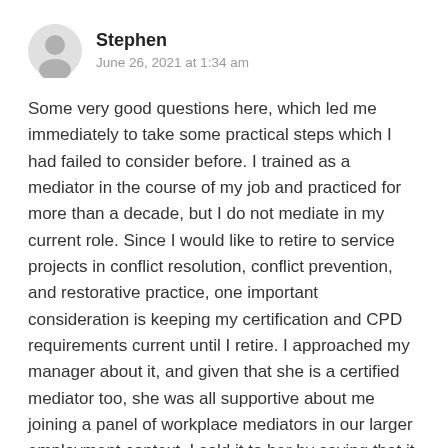[Figure (illustration): Generic user avatar icon — grey silhouette of a person's head and shoulders on a light grey circle background]
Stephen
June 26, 2021 at 1:34 am
Some very good questions here, which led me immediately to take some practical steps which I had failed to consider before. I trained as a mediator in the course of my job and practiced for more than a decade, but I do not mediate in my current role. Since I would like to retire to service projects in conflict resolution, conflict prevention, and restorative practice, one important consideration is keeping my certification and CPD requirements current until I retire. I approached my manager about it, and given that she is a certified mediator too, she was all supportive about me joining a panel of workplace mediators in our larger employment context. I sold it to her by saying that it would be a